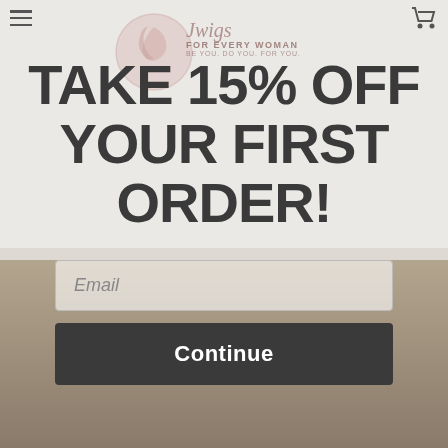[Figure (screenshot): Website popup modal with 15% off first order promotion. Background shows a person from behind wearing a gray top, overlaid with a semi-transparent light gray modal. Header area shows hamburger menu icon, Jwigs For Every Woman logo, and cart icon.]
TAKE 15% OFF YOUR FIRST ORDER!
Email
Continue